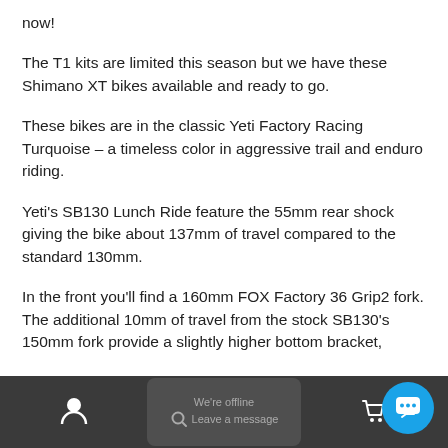now!
The T1 kits are limited this season but we have these Shimano XT bikes available and ready to go.
These bikes are in the classic Yeti Factory Racing Turquoise – a timeless color in aggressive trail and enduro riding.
Yeti's SB130 Lunch Ride feature the 55mm rear shock giving the bike about 137mm of travel compared to the standard 130mm.
In the front you'll find a 160mm FOX Factory 36 Grip2 fork. The additional 10mm of travel from the stock SB130's 150mm fork provide a slightly higher bottom bracket,
We're offline
Leave a message